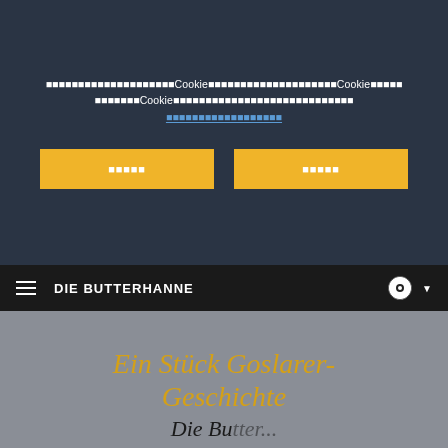Cookie-Banner text with Cookie-related content and Cookie settings link
[Figure (screenshot): Two yellow buttons for cookie consent options]
DIE BUTTERHANNE navigation bar with hamburger menu and flag icon
Ein Stück Goslarer-Geschichte
Die Butter...